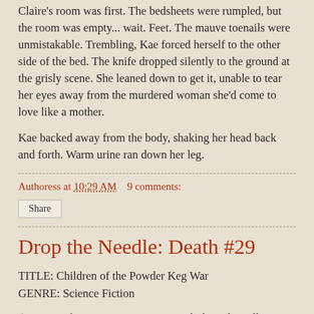Claire's room was first. The bedsheets were rumpled, but the room was empty... wait. Feet. The mauve toenails were unmistakable. Trembling, Kae forced herself to the other side of the bed. The knife dropped silently to the ground at the grisly scene. She leaned down to get it, unable to tear her eyes away from the murdered woman she'd come to love like a mother.
Kae backed away from the body, shaking her head back and forth. Warm urine ran down her leg.
Authoress at 10:29 AM    9 comments:
Share
Drop the Needle: Death #29
TITLE: Children of the Powder Keg War
GENRE: Science Fiction
(A group of inner-city teenagers. Rashid can literally sense